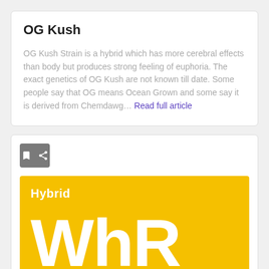OG Kush
OG Kush Strain is a hybrid which has more cerebral effects than body but produces strong feeling of euphoria. The exact genetics of OG Kush are not known till date. Some people say that OG means Ocean Grown and some say it is derived from Chemdawg… Read full article
[Figure (other): Yellow card with bookmark and share icon buttons, showing 'Hybrid' label and large letters 'WhR' in white on a yellow background]